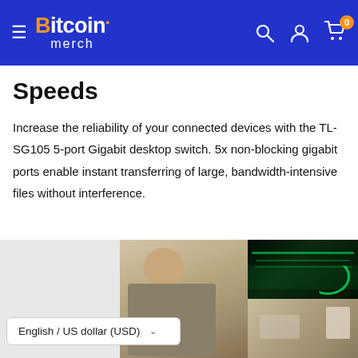Bitcoin merch — navigation header with hamburger menu, search, account, and cart icons
Speeds
Increase the reliability of your connected devices with the TL-SG105 5-port Gigabit desktop switch. 5x non-blocking gigabit ports enable instant transferring of large, bandwidth-intensive files without interference.
[Figure (photo): Bottom section showing a person working at a laptop, a green-lit mechanical keyboard, and an office desk setup. A language selector reads 'English / US dollar (USD)'.]